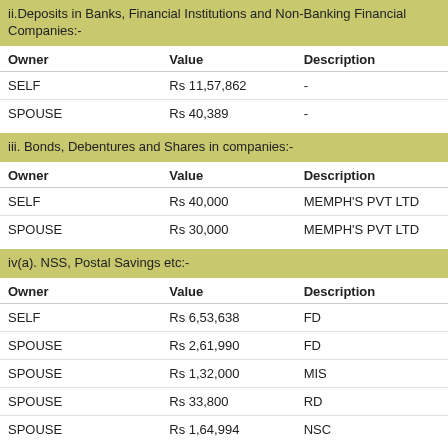ii.Deposits in Banks, Financial Institutions and Non-Banking Financial Companies:-
| Owner | Value | Description |
| --- | --- | --- |
| SELF | Rs 11,57,862 | - |
| SPOUSE | Rs 40,389 | - |
iii. Bonds, Debentures and Shares in companies:-
| Owner | Value | Description |
| --- | --- | --- |
| SELF | Rs 40,000 | MEMPH'S PVT LTD |
| SPOUSE | Rs 30,000 | MEMPH'S PVT LTD |
iv(a). NSS, Postal Savings etc:-
| Owner | Value | Description |
| --- | --- | --- |
| SELF | Rs 6,53,638 | FD |
| SPOUSE | Rs 2,61,990 | FD |
| SPOUSE | Rs 1,32,000 | MIS |
| SPOUSE | Rs 33,800 | RD |
| SPOUSE | Rs 1,64,994 | NSC |